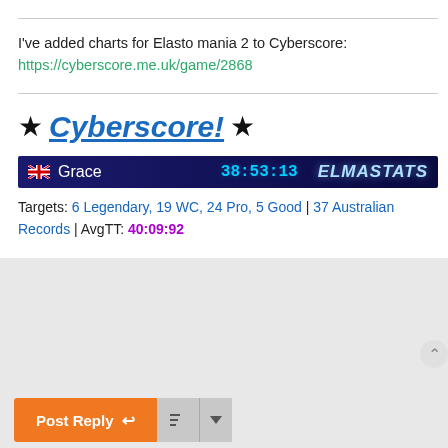I've added charts for Elasto mania 2 to Cyberscore:
https://cyberscore.me.uk/game/2868
[Figure (screenshot): Cyberscore banner with star icons and italic linked heading 'Cyberscore!']
[Figure (screenshot): ELMASTATS bar showing user Grace with time 38:53:13 on dark blue background]
Targets: 6 Legendary, 19 WC, 24 Pro, 5 Good | 37 Australian Records | AvgTT: 40:09:92
Post Reply | sort buttons
25 posts • Page 1 of 1
Jump to